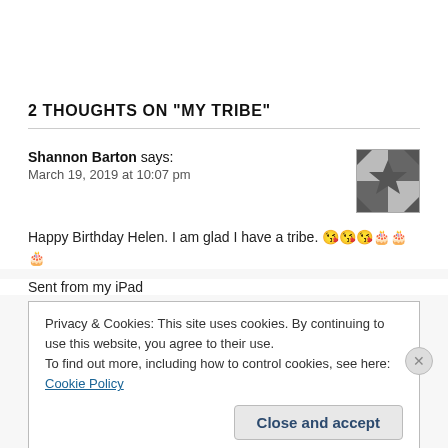2 THOUGHTS ON "MY TRIBE"
Shannon Barton says:
March 19, 2019 at 10:07 pm
Happy Birthday Helen. I am glad I have a tribe. 😘😘😘🎂🎂🎂
Sent from my iPad
Privacy & Cookies: This site uses cookies. By continuing to use this website, you agree to their use.
To find out more, including how to control cookies, see here: Cookie Policy
Close and accept